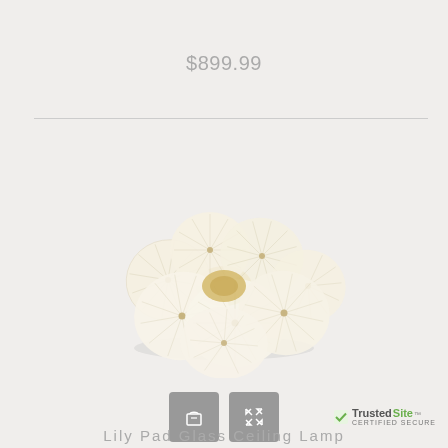$899.99
[Figure (photo): A decorative ceiling lamp with multiple translucent circular frosted glass lily pad-shaped shades arranged in a cluster on a gold/brass base, photographed against a light background.]
Lily Pad Glass Ceiling Lamp